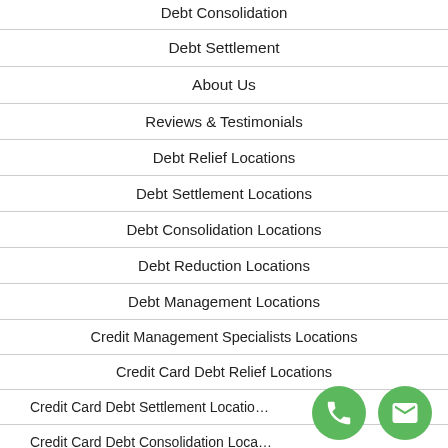Debt Consolidation
Debt Settlement
About Us
Reviews & Testimonials
Debt Relief Locations
Debt Settlement Locations
Debt Consolidation Locations
Debt Reduction Locations
Debt Management Locations
Credit Management Specialists Locations
Credit Card Debt Relief Locations
Credit Card Debt Settlement Locations
Credit Card Debt Consolidation Locations